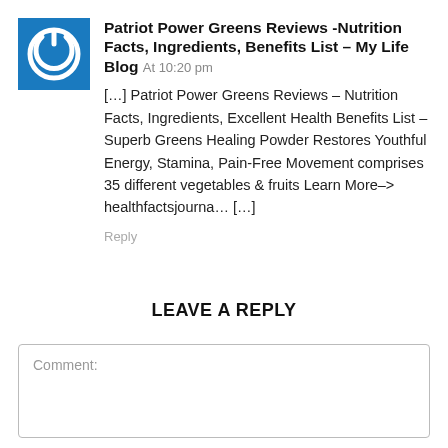[Figure (logo): Blue square icon with a circular power/refresh symbol in white]
Patriot Power Greens Reviews -Nutrition Facts, Ingredients, Benefits List – My Life Blog At 10:20 pm
[…] Patriot Power Greens Reviews – Nutrition Facts, Ingredients, Excellent Health Benefits List – Superb Greens Healing Powder Restores Youthful Energy, Stamina, Pain-Free Movement comprises 35 different vegetables & fruits Learn More–> healthfactsjourna… […]
Reply
LEAVE A REPLY
Comment: